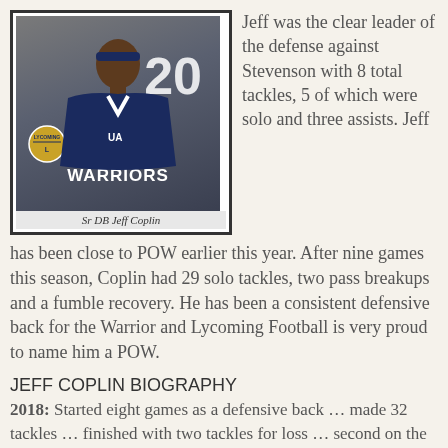[Figure (photo): Photo of Sr DB Jeff Coplin in Warriors football uniform #20, with team logo visible]
Sr DB Jeff Coplin
Jeff was the clear leader of the defense against Stevenson with 8 total tackles, 5 of which were solo and three assists. Jeff has been close to POW earlier this year. After nine games this season, Coplin had 29 solo tackles, two pass breakups and a fumble recovery. He has been a consistent defensive back for the Warrior and Lycoming Football is very proud to name him a POW.
JEFF COPLIN BIOGRAPHY
2018: Started eight games as a defensive back … made 32 tackles … finished with two tackles for loss … second on the team with four interceptions,